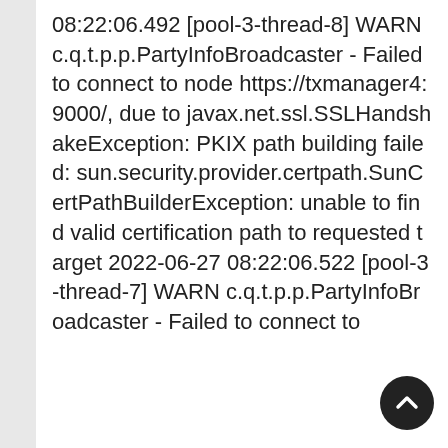08:22:06.492 [pool-3-thread-8] WARN c.q.t.p.p.PartyInfoBroadcaster - Failed to connect to node https://txmanager4:9000/, due to javax.net.ssl.SSLHandshakeException: PKIX path building failed: sun.security.provider.certpath.SunCertPathBuilderException: unable to find valid certification path to requested target 2022-06-27 08:22:06.522 [pool-3-thread-7] WARN c.q.t.p.p.PartyInfoBroadcaster - Failed to connect to